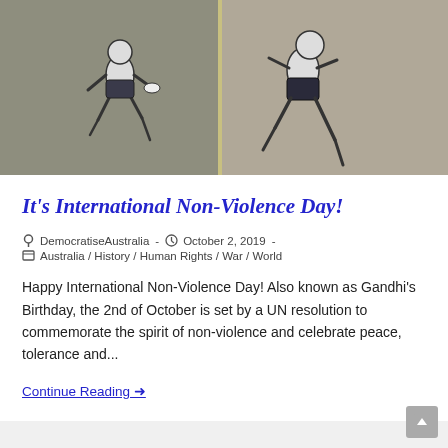[Figure (photo): Two side-by-side images showing artistic/sketch depictions of human figures, with a light-colored divider between them. The figures appear to be in motion or falling.]
It's International Non-Violence Day!
DemocratiseAustralia  -  October 2, 2019  -  Australia / History / Human Rights / War / World
Happy International Non-Violence Day! Also known as Gandhi's Birthday, the 2nd of October is set by a UN resolution to commemorate the spirit of non-violence and celebrate peace, tolerance and...
Continue Reading →